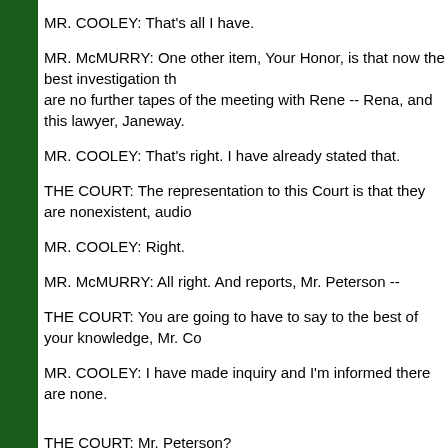MR. COOLEY: That's all I have.
MR. McMURRY: One other item, Your Honor, is that now the best investigation that there are no further tapes of the meeting with Rene -- Rena, and this lawyer, Janeway.
MR. COOLEY: That's right. I have already stated that.
THE COURT: The representation to this Court is that they are nonexistent, audio
MR. COOLEY: Right.
MR. McMURRY: All right. And reports, Mr. Peterson --
THE COURT: You are going to have to say to the best of your knowledge, Mr. Co
MR. COOLEY: I have made inquiry and I'm informed there are none.
THE COURT: Mr. Peterson?
MR. PETERSON: Same is true. I had planned to return to Los Angeles to make a McMurry's shopping list.
MR. COOLEY: Those are documents you are talking about?